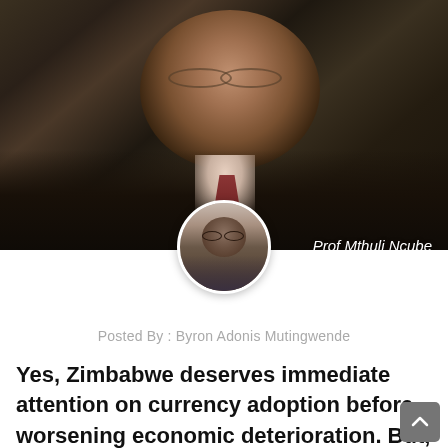[Figure (photo): Photo of Prof Mthuli Ncube, an older man wearing glasses, dark suit, and patterned tie, laughing. A smaller circular portrait photo of a younger man (Byron Adonis Mutingwende) overlaps the bottom of the main photo.]
Prof Mthuli Ncube
Posted By : Byron Adonis Mutingwende
Yes, Zimbabwe deserves immediate attention on currency adoption before worsening economic deterioration. But, is the adoption of the foreign